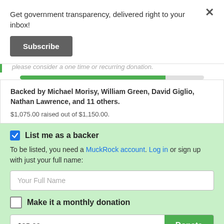Get government transparency, delivered right to your inbox!
Subscribe
please consider a one time or recurring donation.
Backed by Michael Morisy, William Green, David Giglio, Nathan Lawrence, and 11 others.
$1,075.00 raised out of $1,150.00.
List me as a backer
To be listed, you need a MuckRock account. Log in or sign up with just your full name:
Your Full Name
Make it a monthly donation
$25.00
Donate